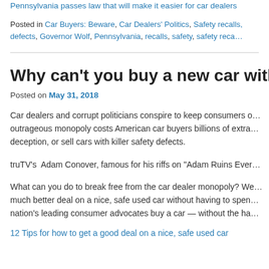Pennsylvania passes law that will make it easier for car dealers
Posted in Car Buyers: Beware, Car Dealers' Politics, Safety recalls, defects, Governor Wolf, Pennsylvania, recalls, safety, safety reca…
Why can't you buy a new car without
Posted on May 31, 2018
Car dealers and corrupt politicians conspire to keep consumers o…outrageous monopoly costs American car buyers billions of extra…deception, or sell cars with killer safety defects.
truTV's  Adam Conover, famous for his riffs on "Adam Ruins Ever…
What can you do to break free from the car dealer monopoly? We…much better deal on a nice, safe used car without having to spen…nation's leading consumer advocates buy a car — without the ha…
12 Tips for how to get a good deal on a nice, safe used car